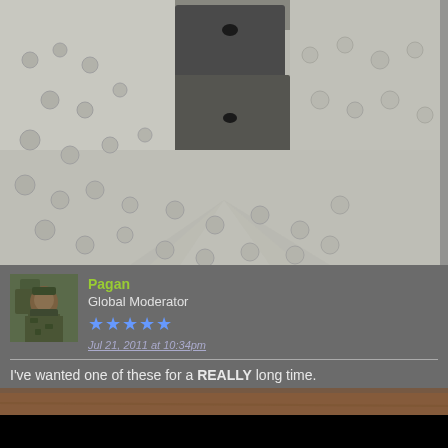[Figure (photo): Close-up photo of a textured white/grey surface (possibly a gun stock or carved material) with a dark metal component (possibly a gun part/scope mount) positioned on top of it. The surface has an embossed or carved pattern.]
Pagan
Global Moderator
[Figure (photo): Small avatar photo of a person outdoors wearing camouflage clothing]
Jul 21, 2011 at 10:34pm
I've wanted one of these for a REALLY long time.
[Figure (photo): Partial photo showing a brown wooden surface, partially visible at the bottom of the page]